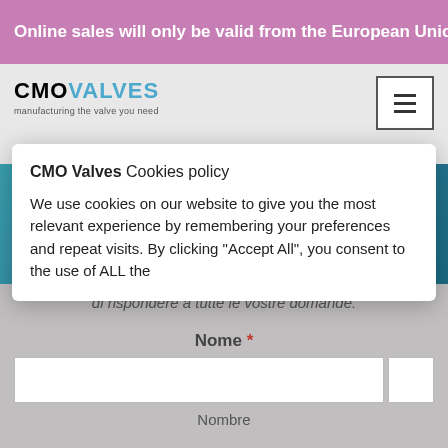Online sales will only be valid from the European Union Ignora
[Figure (logo): CMO VALVES logo with tagline 'manufacturing the valve you need']
[Figure (screenshot): Hamburger menu icon - three horizontal lines in a bordered box]
[Figure (screenshot): Teal blue section with CONTATTO text]
CMO Valves Cookies policy
We use cookies on our website to give you the most relevant experience by remembering your preferences and repeat visits. By clicking "Accept All", you consent to the use of ALL the
di rispondere a tutte le vostre domande.
Nome *
Nombre